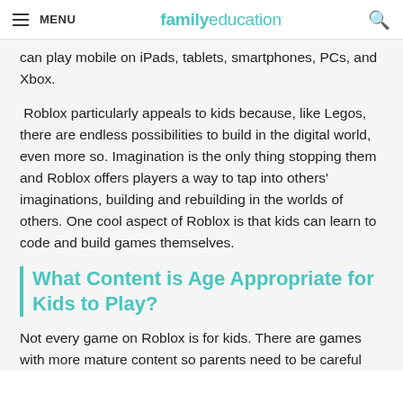MENU | familyeducation
can play mobile on iPads, tablets, smartphones, PCs, and Xbox.
Roblox particularly appeals to kids because, like Legos, there are endless possibilities to build in the digital world, even more so. Imagination is the only thing stopping them and Roblox offers players a way to tap into others' imaginations, building and rebuilding in the worlds of others. One cool aspect of Roblox is that kids can learn to code and build games themselves.
What Content is Age Appropriate for Kids to Play?
Not every game on Roblox is for kids. There are games with more mature content so parents need to be careful